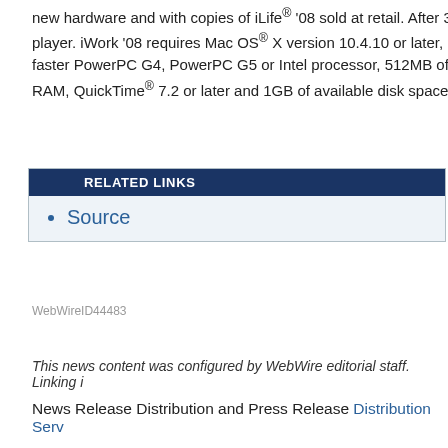new hardware and with copies of iLife® '08 sold at retail. After 3 player. iWork '08 requires Mac OS® X version 10.4.10 or later, faster PowerPC G4, PowerPC G5 or Intel processor, 512MB of RAM, QuickTime® 7.2 or later and 1GB of available disk space
RELATED LINKS
Source
WebWireID44483
This news content was configured by WebWire editorial staff. Linking i
News Release Distribution and Press Release Distribution Serv